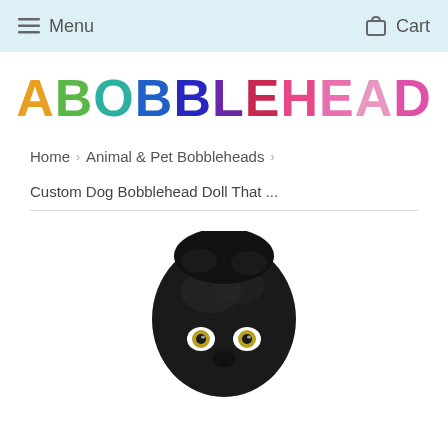Menu   Cart
[Figure (logo): ABOBBLEHEAD colorful logo with each letter in a different color: orange, green, teal, blue, dark blue, purple, dark pink, pink, light pink, pink, magenta]
Home › Animal & Pet Bobbleheads ›
Custom Dog Bobblehead Doll That ...
[Figure (photo): Top portion of a black dog bobblehead doll with round head, small eyes with white sclera and yellow-gold irises, black fur texture on top, viewed from slightly above]